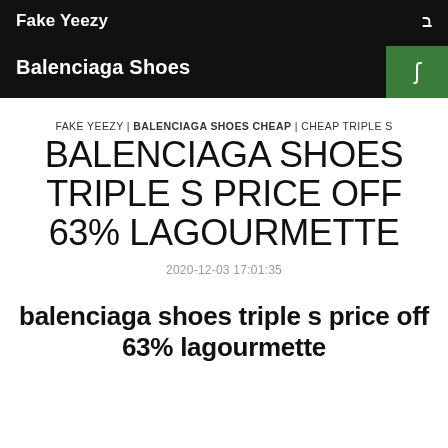Fake Yeezy
Balenciaga Shoes
FAKE YEEZY | BALENCIAGA SHOES CHEAP | CHEAP TRIPLE S
BALENCIAGA SHOES TRIPLE S PRICE OFF 63% LAGOURMETTE
2020-12-03 17:01:35
balenciaga shoes triple s price off 63% lagourmette